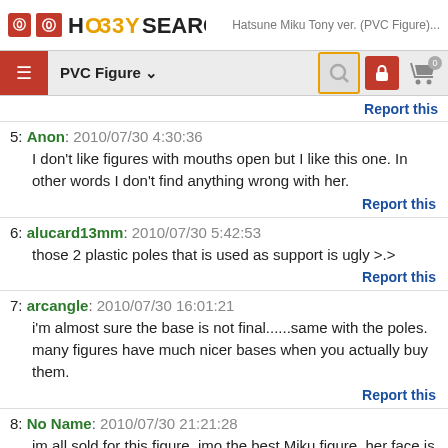HOBBY SEARCH | Hatsune Miku Tony ver. (PVC Figure)...
PVC Figure ∨
Report this
5: Anon: 2010/07/30 4:30:36
I don't like figures with mouths open but I like this one. In other words I don't find anything wrong with her.
Report this
6: alucard13mm: 2010/07/30 5:42:53
those 2 plastic poles that is used as support is ugly >.>
Report this
7: arcangle: 2010/07/30 16:01:21
i'm almost sure the base is not final......same with the poles. many figures have much nicer bases when you actually buy them.
Report this
8: No Name: 2010/07/30 21:21:28
im all sold for this figure, imo the best Miku figure, her face is so pretty.